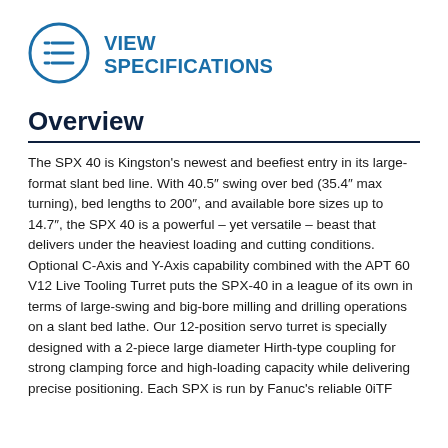[Figure (logo): Blue circle icon with list/menu lines inside, next to 'VIEW SPECIFICATIONS' text in bold blue]
Overview
The SPX 40 is Kingston's newest and beefiest entry in its large-format slant bed line. With 40.5″ swing over bed (35.4″ max turning), bed lengths to 200″, and available bore sizes up to 14.7″, the SPX 40 is a powerful – yet versatile – beast that delivers under the heaviest loading and cutting conditions. Optional C-Axis and Y-Axis capability combined with the APT 60 V12 Live Tooling Turret puts the SPX-40 in a league of its own in terms of large-swing and big-bore milling and drilling operations on a slant bed lathe. Our 12-position servo turret is specially designed with a 2-piece large diameter Hirth-type coupling for strong clamping force and high-loading capacity while delivering precise positioning. Each SPX is run by Fanuc's reliable 0iTF controller with Abiton Speed Threading included...